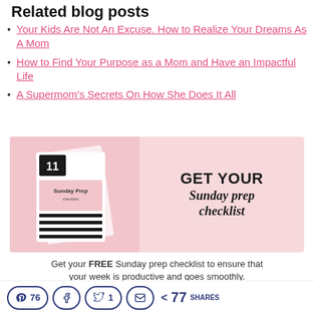Related blog posts
Your Kids Are Not An Excuse. How to Realize Your Dreams As A Mom
How to Find Your Purpose as a Mom and Have an Impactful Life
A Supermom's Secrets On How She Does It All
[Figure (illustration): Promotional banner for a free Sunday prep checklist, showing a pink checklist booklet labeled '11 Sunday Prep checklist' on the left and bold text 'GET YOUR Sunday prep checklist' on the right on a pink background.]
Get your FREE Sunday prep checklist to ensure that your week is productive and goes smoothly.
Pinterest 76  Facebook  Twitter 1  Email  < 77 SHARES